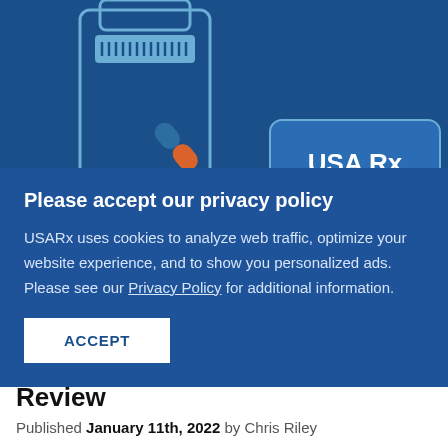[Figure (illustration): Illustration of a pharmacy/medication scene on a dark blue background, featuring a pill capsule (orange and white) and a sign reading 'USA Rx' in white bold text on a rounded rectangle, with pill bottle outlines in light blue]
Please accept our privacy policy
USARx uses cookies to analyze web traffic, optimize your website experience, and to show you personalized ads. Please see our Privacy Policy for additional information.
ACCEPT
Review
Published January 11th, 2022 by Chris Riley